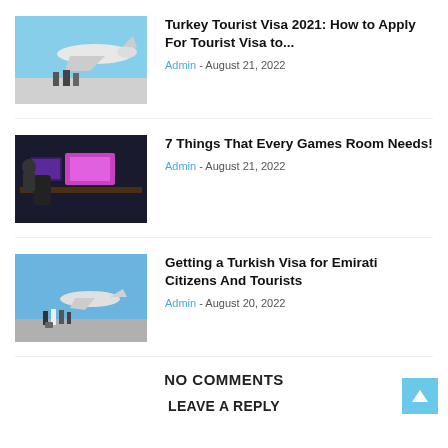[Figure (photo): People walking near a private jet on a tarmac]
Turkey Tourist Visa 2021: How to Apply For Tourist Visa to...
Admin - August 21, 2022
[Figure (photo): Gaming room setup with monitors and gaming chairs]
7 Things That Every Games Room Needs!
Admin - August 21, 2022
[Figure (photo): People near a small aircraft outdoors]
Getting a Turkish Visa for Emirati Citizens And Tourists
Admin - August 20, 2022
NO COMMENTS
LEAVE A REPLY